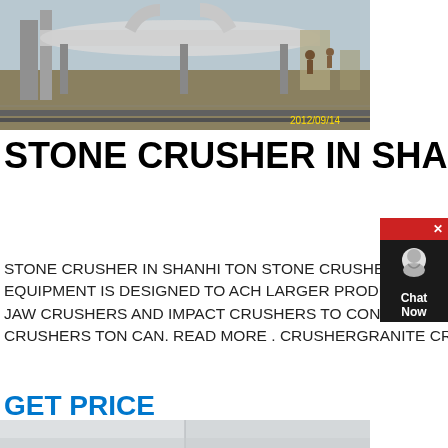[Figure (photo): Industrial stone crushing equipment / machinery at a construction site with pipes and workers visible. Timestamp 2012/09/14 in yellow.]
STONE CRUSHER IN SHANHI-JAW CRUSHER
STONE CRUSHER IN SHANHI TON STONE CRUSHER SHANHI ELLUL STONE CRUSHER EQUIPMENT TON T STONE CRUSHING EQUIPMENT IS DESIGNED TO ACH LARGER PRODUCTIVITY AND HIGHER CRUSHING RATIO FROM LARGE PRIMARY CRUSHERS JAW CRUSHERS AND IMPACT CRUSHERS TO CONE CRUSHERS AND VSI SAND MAKERS AS SECONDARY OR TERTIARY STONE CRUSHERS TON CAN. READ MORE . CRUSHERGRANITE CRUSHERFELDSPAR
GET PRICE
[Figure (photo): Light grey/white industrial surface, partially visible at the bottom of the page.]